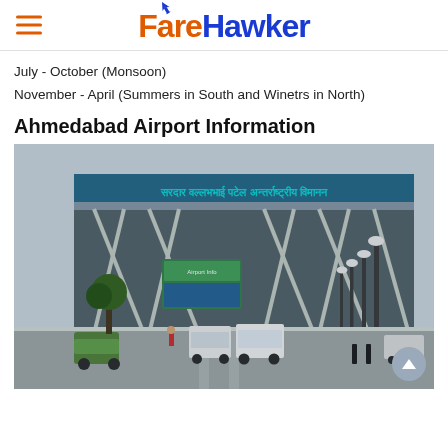FareHawker
July - October (Monsoon)
November - April (Summers in South and Winetrs in North)
Ahmedabad Airport Information
[Figure (photo): Exterior photo of Sardar Vallabhbhai Patel International Airport, Ahmedabad. The airport terminal building features a large steel-framed canopy structure with diagonal support beams. Hindi/Gujarati text on the airport facade reads the airport name. Street lamps line the access road. Several white vehicles (vans, auto-rickshaw) are visible on the approach road in front of the terminal.]